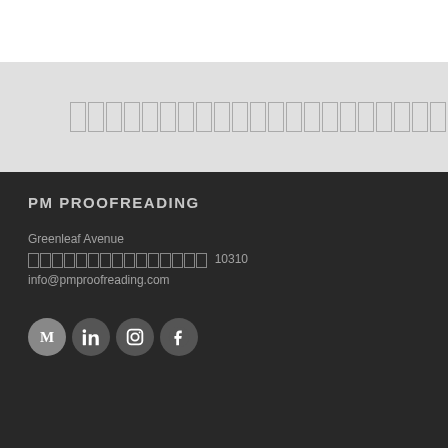[Figure (other): Search bar with placeholder boxes and right arrow on light gray background]
PM PROOFREADING
Greenleaf Avenue
[redacted address] 10310
info@pmproofreading.com
[Figure (other): Social media icons: Medium, LinkedIn, Instagram, Facebook]